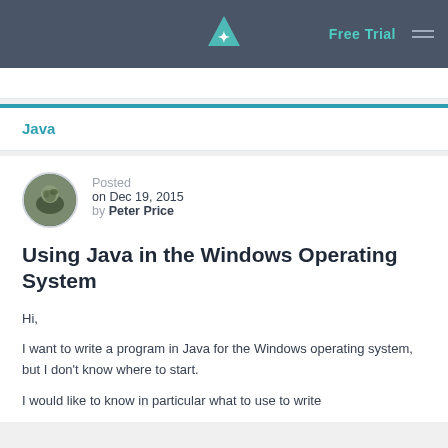Free Trial
Java
Posted on Dec 19, 2015 by Peter Price
Using Java in the Windows Operating System
Hi,
I want to write a program in Java for the Windows operating system, but I don't know where to start.
I would like to know in particular what to use to write